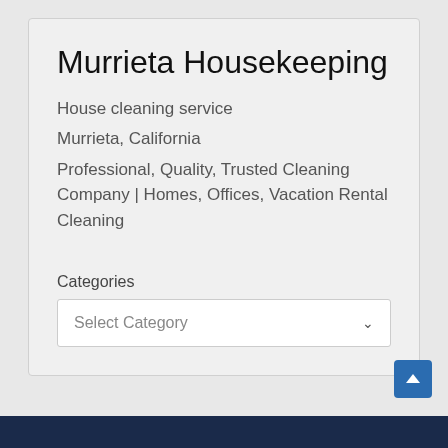Murrieta Housekeeping
House cleaning service
Murrieta, California
Professional, Quality, Trusted Cleaning Company | Homes, Offices, Vacation Rental Cleaning
Categories
Select Category